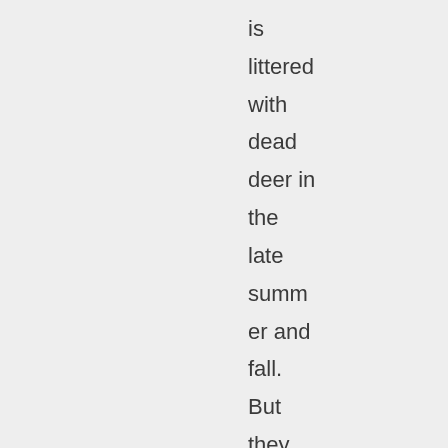is littered with dead deer in the late summer and fall. But they are seen along the